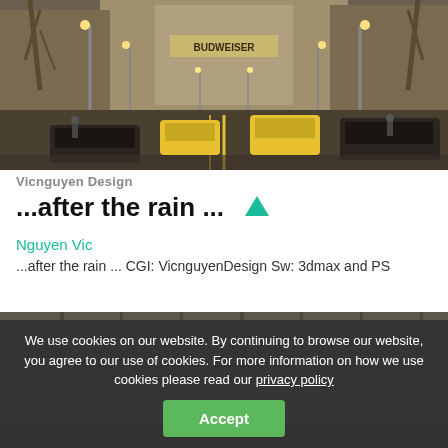[Figure (photo): Street scene with city traffic, yellow taxis, wet road after rain, tall buildings with lights, bare trees lining the street, moody atmospheric lighting]
Vicnguyen Design
...after the rain ... ▲
Nguyen Vic
...after the rain ... CGI: VicnguyenDesign Sw: 3dmax and PS
[Figure (photo): Bottom portion of city street photo, partially obscured by cookie consent overlay]
We use cookies on our website. By continuing to browse our website, you agree to our use of cookies. For more information on how we use cookies please read our privacy policy